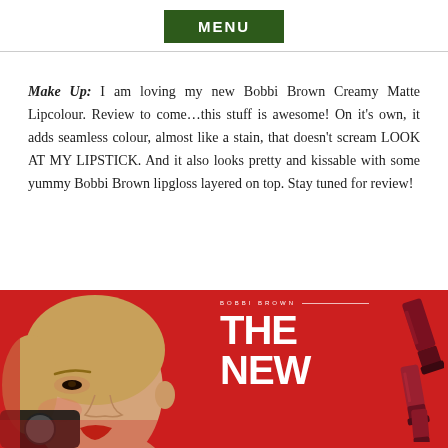MENU
Make Up: I am loving my new Bobbi Brown Creamy Matte Lipcolour. Review to come...this stuff is awesome! On it's own, it adds seamless colour, almost like a stain, that doesn't scream LOOK AT MY LIPSTICK. And it also looks pretty and kissable with some yummy Bobbi Brown lipgloss layered on top. Stay tuned for review!
[Figure (photo): Bobbi Brown advertisement showing a blonde woman on a red background with large white text reading THE NEW and lipstick tubes on the right side]